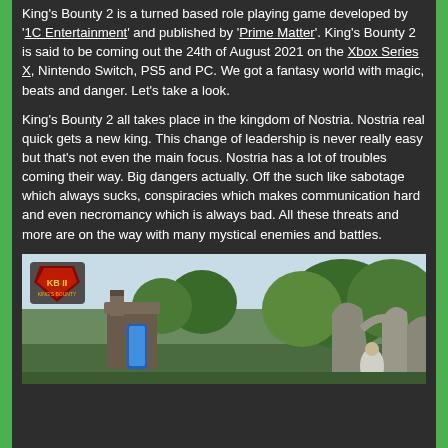King's Bounty 2 is a turned based role playing game developed by '1C Entertainment' and published by 'Prime Matter'. King's Bounty 2 is said to be coming out the 24th of August 2021 on the Xbox Series X, Nintendo Switch, PS5 and PC. We got a fantasy world with magic, beats and danger. Let's take a look.
King's Bounty 2 all takes place in the kingdom of Nostria. Nostria real quick gets a new king. This change of leadership is never really easy but that's not even the main focus. Nostria has a lot of troubles coming their way. Big dangers actually. Off the such like sabotage which always sucks, conspiracies which makes communication hard and even necromancy which is always bad. All these threats and more are on the way with many mystical enemies and battles.
[Figure (screenshot): In-game screenshot of King's Bounty 2 showing a fantasy landscape with trees, castle-like structures, and a robed figure. The King's Bounty II logo is visible in the top-left corner.]